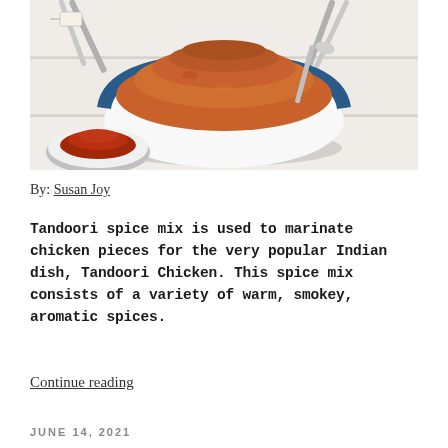[Figure (photo): A blue and white bowl filled with tandoori spice mix (reddish-brown powder) on a white wooden surface, with a small red spice bowl in the lower left and spoons in the background.]
By: Susan Joy
Tandoori spice mix is used to marinate chicken pieces for the very popular Indian dish, Tandoori Chicken. This spice mix consists of a variety of warm, smokey, aromatic spices.
Continue reading
JUNE 14, 2021